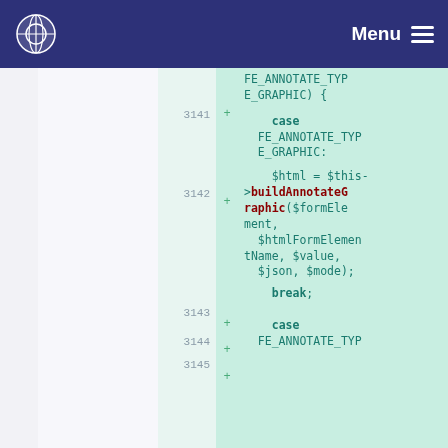Menu
[Figure (screenshot): Code diff view showing PHP code with line numbers 3141-3145. Lines show a switch/case statement handling FE_ANNOTATE_TYPE_GRAPHIC with a call to buildAnnotateGraphic($formElement, $htmlFormElementName, $value, $json, $mode) and a break statement, followed by another case FE_ANNOTATE_TYP...]